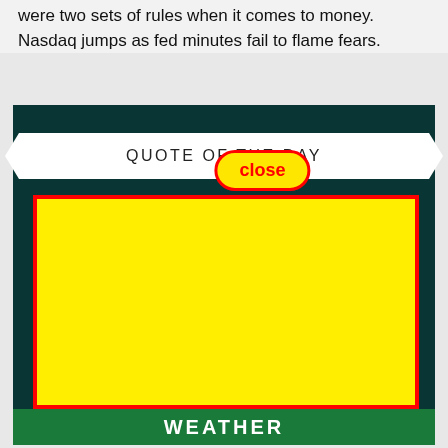people that they don't find — with Rogers there were two sets of rules when it comes to money. Nasdaq jumps as fed minutes fail to flame fears.
[Figure (screenshot): A 'Quote of the Day' widget/advertisement with a dark teal background. It features a white chevron-shaped banner reading 'QUOTE OF THE DAY', a yellow oval 'close' button with red border and red text, a large yellow rectangle with a red border (advertisement area), and a green bar at the bottom reading 'WEATHER'.]